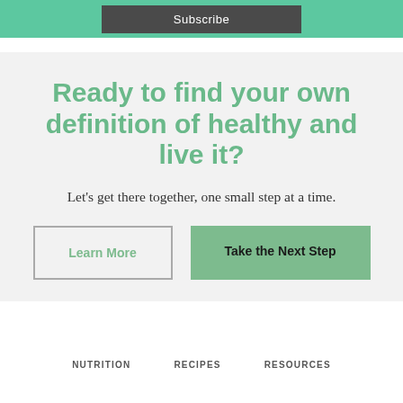Subscribe
Ready to find your own definition of healthy and live it?
Let's get there together, one small step at a time.
Learn More
Take the Next Step
NUTRITION   RECIPES   RESOURCES